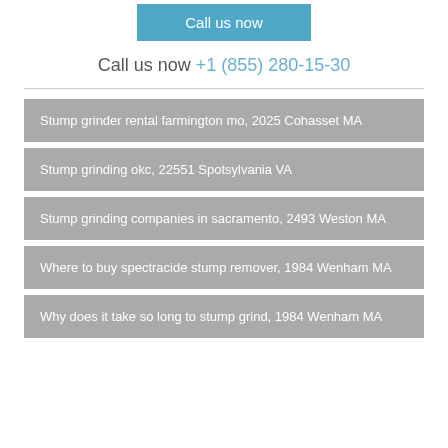[Figure (other): Blue 'Call us now' button]
Call us now +1 (855) 280-15-30
Stump grinder rental farmington mo, 2025 Cohasset MA
Stump grinding okc, 22551 Spotsylvania VA
Stump grinding companies in sacramento, 2493 Weston MA
Where to buy spectracide stump remover, 1984 Wenham MA
Why does it take so long to stump grind, 1984 Wenham MA